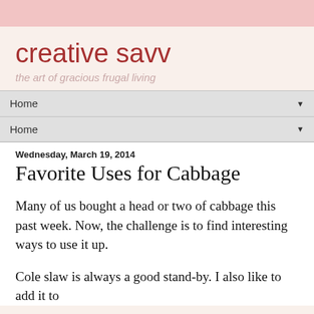creative savv — the art of gracious frugal living
Home
Home
Wednesday, March 19, 2014
Favorite Uses for Cabbage
Many of us bought a head or two of cabbage this past week. Now, the challenge is to find interesting ways to use it up.
Cole slaw is always a good stand-by. I also like to add it to